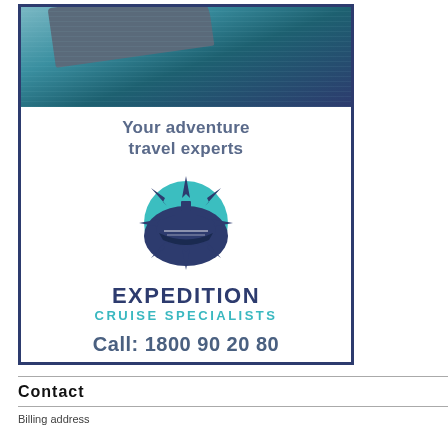[Figure (illustration): Advertisement for Expedition Cruise Specialists. Contains a photo of water and boat hull at the top, bold text 'Your adventure travel experts', a circular compass/cruise ship logo, the brand name 'EXPEDITION CRUISE SPECIALISTS', and 'Call: 1800 90 20 80'.]
Contact
Billing address